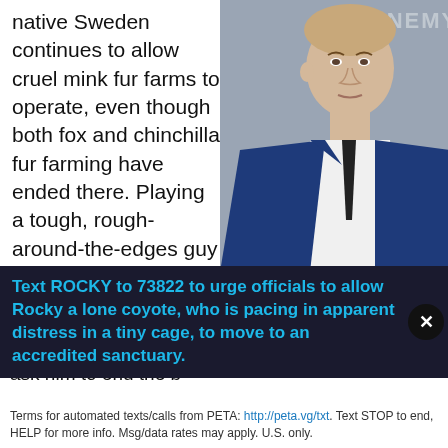native Sweden continues to allow cruel mink fur farms to operate, even though both fox and chinchilla fur farming have ended there. Playing a tough, rough-around-the-edges guy on the cult show The Killing, his character, Stephen Holder, also had a soft side—and so does Joel. He worked with PETA UK to contact a government official and ask him to end the b
[Figure (photo): Man in blue suit and dark tie at a formal event, partial 'ENEMY' text visible in background]
©StarMaxInc.com
Text ROCKY to 73822 to urge officials to allow Rocky a lone coyote, who is pacing in apparent distress in a tiny cage, to move to an accredited sanctuary.
Terms for automated texts/calls from PETA: http://peta.vg/txt. Text STOP to end, HELP for more info. Msg/data rates may apply. U.S. only.